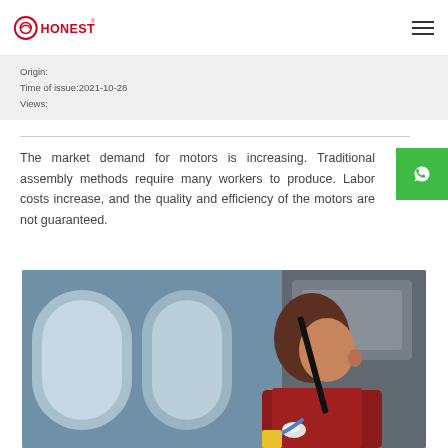HONEST logo and navigation menu
Origin:
Time of issue:2021-10-28
Views:
The market demand for motors is increasing. Traditional assembly methods require many workers to produce. Labor costs increase, and the quality and efficiency of the motors are not guaranteed.
[Figure (photo): A worker in a red shirt operating or inspecting industrial motor assembly equipment, with blue-lit machinery in the background.]